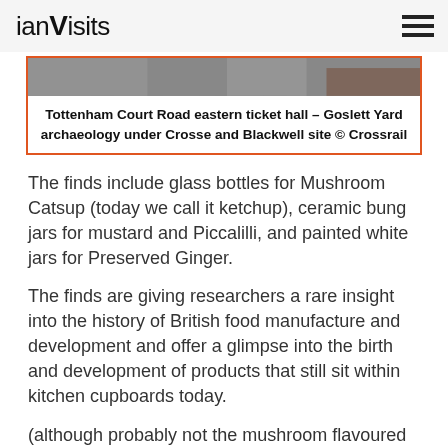ianVisits
[Figure (photo): Archaeological excavation site at Tottenham Court Road eastern ticket hall, Goslett Yard]
Tottenham Court Road eastern ticket hall – Goslett Yard archaeology under Crosse and Blackwell site © Crossrail
The finds include glass bottles for Mushroom Catsup (today we call it ketchup), ceramic bung jars for mustard and Piccalilli, and painted white jars for Preserved Ginger.
The finds are giving researchers a rare insight into the history of British food manufacture and development and offer a glimpse into the birth and development of products that still sit within kitchen cupboards today.
(although probably not the mushroom flavoured ketchup)